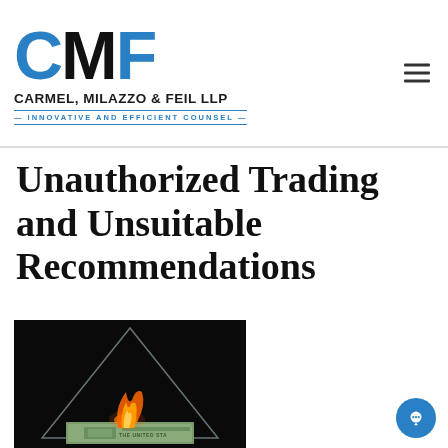CARMEL, MILAZZO & FEIL LLP — INNOVATIVE AND EFFICIENT COUNSEL
Unauthorized Trading and Unsuitable Recommendations
[Figure (photo): Dark background photo showing a burning banknote beneath a glass pyramid shape, with text 'THE UNITED STA' visible at the bottom of the bill]